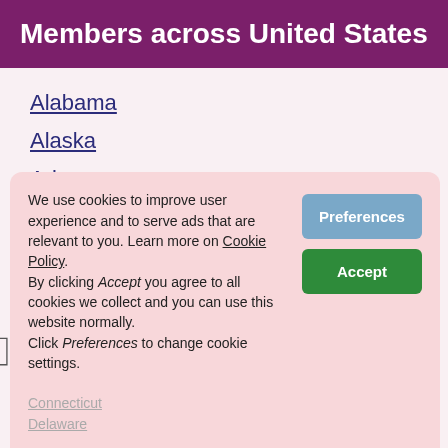Members across United States
Alabama
Alaska
Arizona
Arizona (AZ)
Arkansas
CA
California
Connecticut
Delaware
We use cookies to improve user experience and to serve ads that are relevant to you. Learn more on Cookie Policy. By clicking Accept you agree to all cookies we collect and you can use this website normally. Click Preferences to change cookie settings.